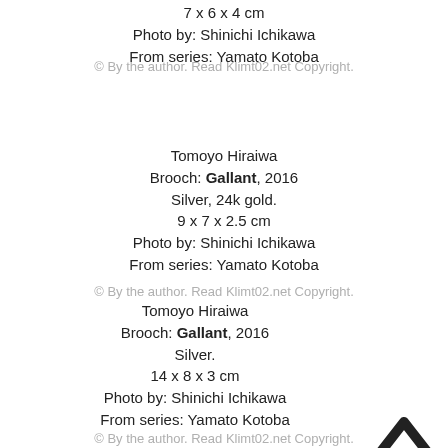7 x 6 x 4 cm
Photo by: Shinichi Ichikawa
From series: Yamato Kotoba
© By the author. Read Klimt02.net Copyright.
Tomoyo Hiraiwa
Brooch: Gallant, 2016
Silver, 24k gold.
9 x 7 x 2.5 cm
Photo by: Shinichi Ichikawa
From series: Yamato Kotoba
© By the author. Read Klimt02.net Copyright.
Tomoyo Hiraiwa
Brooch: Gallant, 2016
Silver.
14 x 8 x 3 cm
Photo by: Shinichi Ichikawa
From series: Yamato Kotoba
© By the author. Read Klimt02.net Copyright.
Tomoyo Hiraiwa
Brooch: Joyful laughter people, 2016
Silver, Chrysoprase, red amber.
6 x 5.5 x 2 cm; 8 x 7.5 x 2.5 cm
Photo by: Shinichi Ichikawa
From series: Yamato Kotoba
© By the author. Read Klimt02.net Copyright.